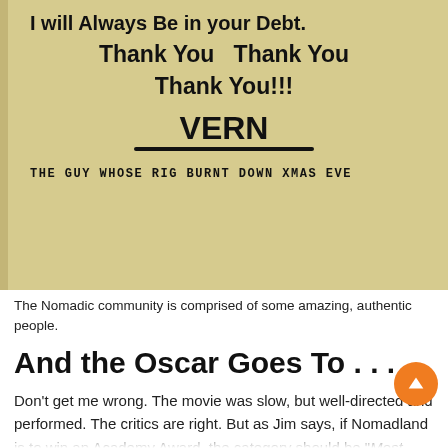[Figure (photo): Handwritten note on yellow lined paper reading: 'I will Always Be in your Debt. Thank You Thank You Thank You!!! VERN' with underline, and bottom text 'THE GUY WHOSE RIG BURNT DOWN XMAS EVE']
The Nomadic community is comprised of some amazing, authentic people.
And the Oscar Goes To . . .
Don't get me wrong. The movie was slow, but well-directed and performed. The critics are right. But as Jim says, if Nomadland is to win an Academy Award, the category should be "Most Amount of Time Staring